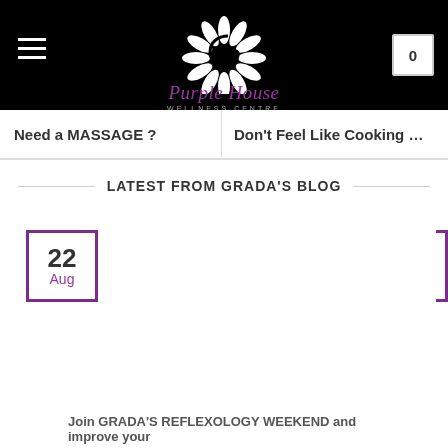[Figure (logo): Purple House Wellness Centre logo — spiral hand illustration in white on black, with purple italic cursive text 'Purple House' and grey caps 'WELLNESS CENTRE']
Need a MASSAGE ?
Don't Feel Like Cooking …
LATEST FROM GRADA'S BLOG
22 Aug
Join GRADA'S REFLEXOLOGY WEEKEND and improve your